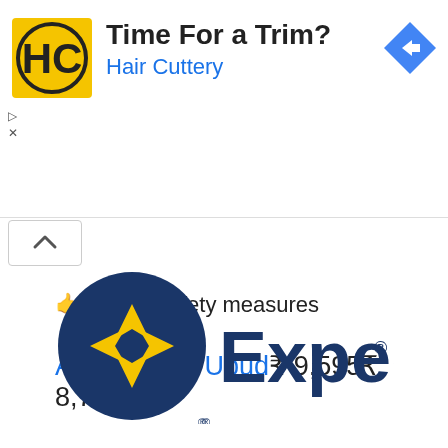[Figure (logo): Hair Cuttery ad banner with HC yellow logo, text 'Time For a Trim?' and 'Hair Cuttery' in blue, blue navigation arrow diamond icon on right]
🤙 Taking safety measures
Asvara Villa Ubud ₹ 9,595 ₹ 8,723
[Figure (logo): Expedia logo: dark blue circle with yellow airplane/arrow shape, text 'Expedia' in dark navy blue with registered trademark symbol]